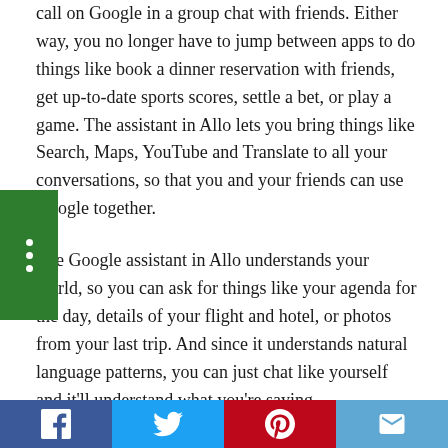call on Google in a group chat with friends. Either way, you no longer have to jump between apps to do things like book a dinner reservation with friends, get up-to-date sports scores, settle a bet, or play a game. The assistant in Allo lets you bring things like Search, Maps, YouTube and Translate to all your conversations, so that you and your friends can use Google together.
The Google assistant in Allo understands your world, so you can ask for things like your agenda for the day, details of your flight and hotel, or photos from your last trip. And since it understands natural language patterns, you can just chat like yourself and it'll understand what you're saying.
Social share bar: Facebook, Twitter, Pinterest, Email